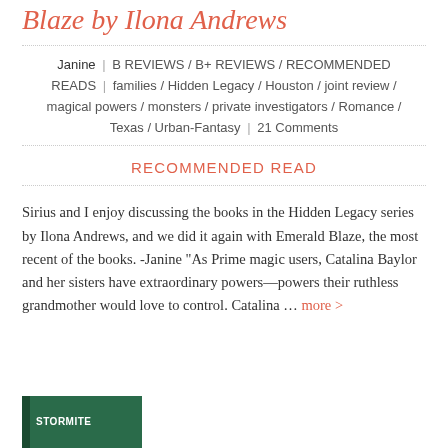Blaze by Ilona Andrews
Janine | B REVIEWS / B+ REVIEWS / RECOMMENDED READS | families / Hidden Legacy / Houston / joint review / magical powers / monsters / private investigators / Romance / Texas / Urban-Fantasy  21 Comments
RECOMMENDED READ
Sirius and I enjoy discussing the books in the Hidden Legacy series by Ilona Andrews, and we did it again with Emerald Blaze, the most recent of the books. -Janine “As Prime magic users, Catalina Baylor and her sisters have extraordinary powers—powers their ruthless grandmother would love to control. Catalina ... more >
[Figure (photo): Book cover image showing STORMITE text with green/dark background]